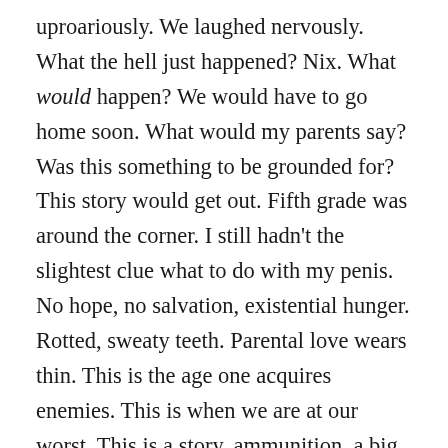uproariously. We laughed nervously. What the hell just happened? Nix. What would happen? We would have to go home soon. What would my parents say? Was this something to be grounded for? This story would get out. Fifth grade was around the corner. I still hadn't the slightest clue what to do with my penis. No hope, no salvation, existential hunger. Rotted, sweaty teeth. Parental love wears thin. This is the age one acquires enemies. This is when we are at our worst. This is a story, ammunition, a big powder keg, a cache of hellhounds. We didn't want blood, but we got it. The story would get out.